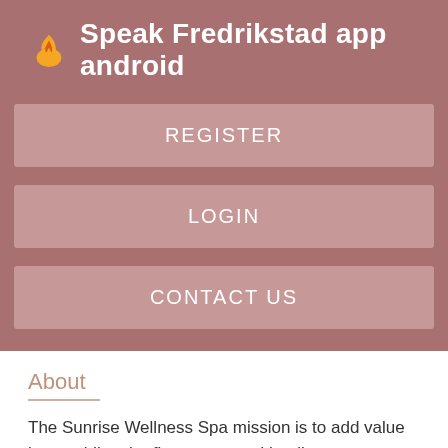Speak Fredrikstad app android
REGISTER
LOGIN
CONTACT US
About
The Sunrise Wellness Spa mission is to add value by providing the finest care and healing environment in the spa industry so our guests leave with renewed balance and beauty. Our Vision is to soa the Wellness Spa of choice offering a preventive lifestyle Nudist Drobak girls will add value to our clients and staff.